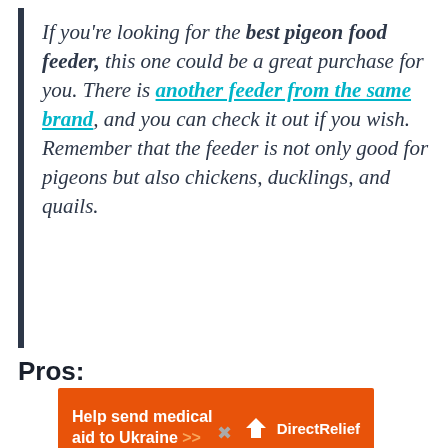If you're looking for the best pigeon food feeder, this one could be a great purchase for you. There is another feeder from the same brand, and you can check it out if you wish. Remember that the feeder is not only good for pigeons but also chickens, ducklings, and quails.
Pros:
[Figure (other): Orange advertisement banner for Direct Relief: 'Help send medical aid to Ukraine >>' with Direct Relief logo on the right]